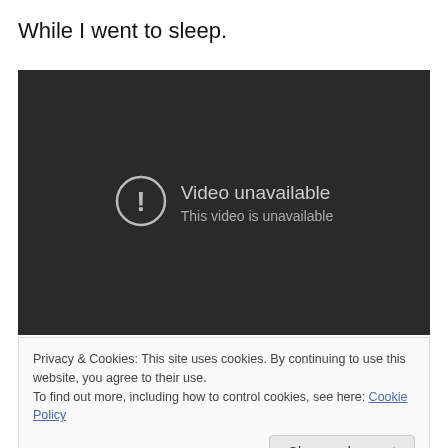While I went to sleep.
[Figure (screenshot): Embedded video player showing 'Video unavailable' error message with warning icon on dark background. Text reads: 'Video unavailable' and 'This video is unavailable'.]
Privacy & Cookies: This site uses cookies. By continuing to use this website, you agree to their use.
To find out more, including how to control cookies, see here: Cookie Policy